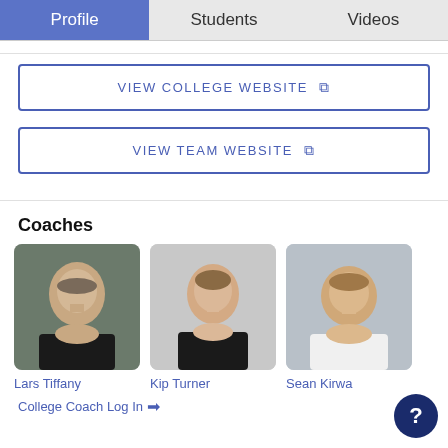Profile | Students | Videos
VIEW COLLEGE WEBSITE ↗
VIEW TEAM WEBSITE ↗
Coaches
[Figure (photo): Headshot photo of Lars Tiffany, a coach]
Lars Tiffany
[Figure (photo): Headshot photo of Kip Turner, a coach]
Kip Turner
[Figure (photo): Headshot photo of Sean Kirwa, a coach]
Sean Kirwa
College Coach Log In →